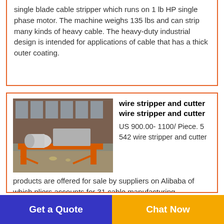single blade cable stripper which runs on 1 lb HP single phase motor. The machine weighs 135 lbs and can strip many kinds of heavy cable. The heavy-duty industrial design is intended for applications of cable that has a thick outer coating.
[Figure (photo): Industrial wire stripper and cutter machine with orange frame, shown outdoors against a brick building background.]
wire stripper and cutter wire stripper and cutter
US 900.00- 1100/ Piece. 5 542 wire stripper and cutter products are offered for sale by suppliers on Alibaba of which pliers accounts for 31 cable manufacturing
Get a Quote
Chat Now